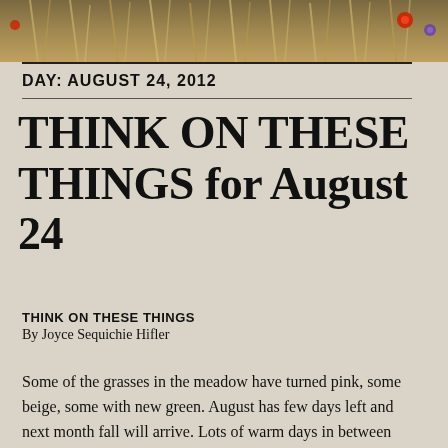[Figure (photo): Decorative banner photo of wheat stalks, flowers (red and purple), and natural harvest elements on a burlap-textured background.]
DAY: AUGUST 24, 2012
THINK ON THESE THINGS for August 24
THINK ON THESE THINGS
By Joyce Sequichie Hifler
Some of the grasses in the meadow have turned pink, some beige, some with new green. August has few days left and next month fall will arrive. Lots of warm days in between now and then, but at least the temperature will modify